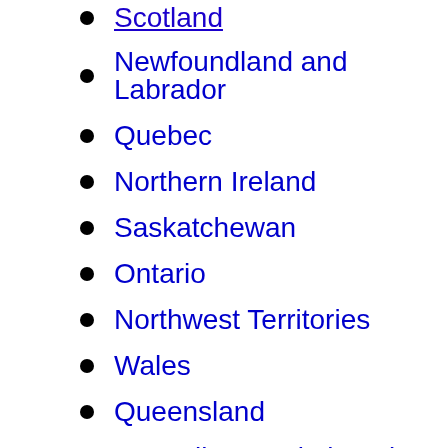Scotland
Newfoundland and Labrador
Quebec
Northern Ireland
Saskatchewan
Ontario
Northwest Territories
Wales
Queensland
Australian Capital Territory
New South Wales
South Australia